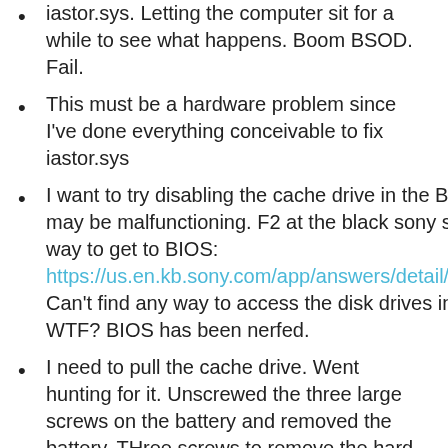iastor.sys.  Letting the computer sit for a while to see what happens.  Boom BSOD.  Fail.
This must be a hardware problem since I've done everything conceivable to fix iastor.sys
I want to try disabling the cache drive in the BIOS.  Drive may be malfunctioning.  F2 at the black sony screen is the way to get to BIOS: https://us.en.kb.sony.com/app/answers/detail/a_id/35240.  Can't find any way to access the disk drives in the BIOS!  WTF?  BIOS has been nerfed.
I need to pull the cache drive.  Went hunting for it.  Unscrewed the three large screws on the battery and removed the battery.  THree screws to remove the hard drive cover.  Unscrewed the hard drive too, four more screws. (did this previously because I had put it in another machine).  Opened up the back panel by removing all the small black screws around the outside edges on the bottom and two silver ones in the battery compartment.  The bottom cover pops off with all the screws.